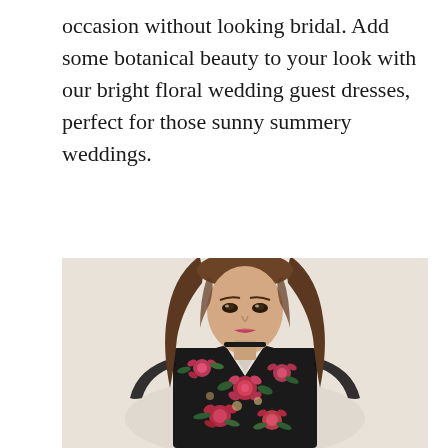occasion without looking bridal. Add some botanical beauty to your look with our bright floral wedding guest dresses, perfect for those sunny summery weddings.
[Figure (photo): A young woman with long brown hair wearing a black floral wrap dress with pink and red roses and green leaves, long sheer sleeves, and a deep V-neckline with a black choker necklace. She is posing against a light beige background.]